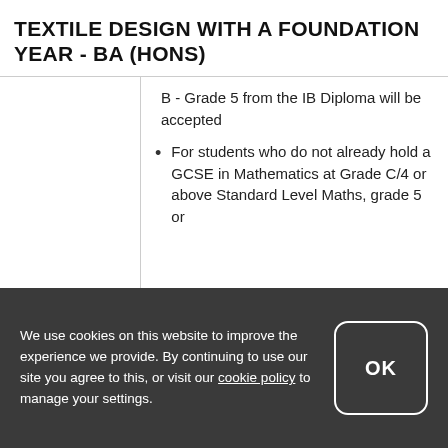TEXTILE DESIGN WITH A FOUNDATION YEAR - BA (HONS)
B - Grade 5 from the IB Diploma will be accepted
For students who do not already hold a GCSE in Mathematics at Grade C/4 or above Standard Level Maths, grade 5 or
We use cookies on this website to improve the experience we provide. By continuing to use our site you agree to this, or visit our cookie policy to manage your settings.